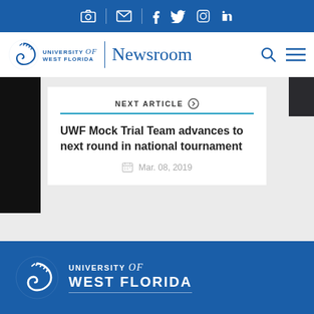[Figure (screenshot): University of West Florida Newsroom website screenshot showing social media icons top bar, UWF Newsroom header, a Next Article card for 'UWF Mock Trial Team advances to next round in national tournament' dated Mar. 08, 2019, and UWF footer logo]
University of West Florida Newsroom
NEXT ARTICLE
UWF Mock Trial Team advances to next round in national tournament
Mar. 08, 2019
UNIVERSITY of WEST FLORIDA